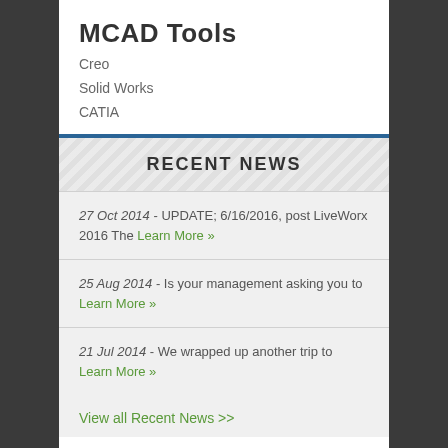MCAD Tools
Creo
Solid Works
CATIA
RECENT NEWS
27 Oct 2014 - UPDATE; 6/16/2016, post LiveWorx 2016 The Learn More »
25 Aug 2014 - Is your management asking you to Learn More »
21 Jul 2014 - We wrapped up another trip to Learn More »
View all Recent News >>